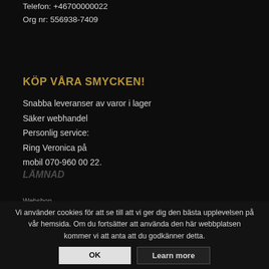Telefon: +46700000022
Org nr: 556938-7409
KÖP VÅRA SMYCKEN!
Snabba leveranser av varor i lager
Säker webhandel
Personlig service:
Ring Veronica på
mobil 070-960 00 22.
Webshop
Våra köpvillkor
Vi använder cookies för att se till att vi ger dig den bästa upplevelsen på vår hemsida. Om du fortsätter att använda den här webbplatsen kommer vi att anta att du godkänner detta.